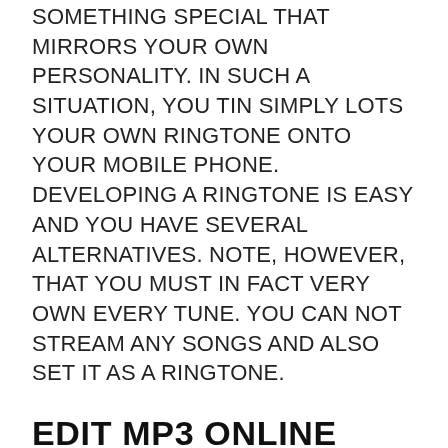SOMETHING SPECIAL THAT MIRRORS YOUR OWN PERSONALITY. IN SUCH A SITUATION, YOU TIN SIMPLY LOTS YOUR OWN RINGTONE ONTO YOUR MOBILE PHONE. DEVELOPING A RINGTONE IS EASY AND YOU HAVE SEVERAL ALTERNATIVES. NOTE, HOWEVER, THAT YOU MUST IN FACT VERY OWN EVERY TUNE. YOU CAN NOT STREAM ANY SONGS AND ALSO SET IT AS A RINGTONE.
EDIT MP3 ONLINE
THE EASIEST WAY TO DEVELOP An INDIVIDUAL RINGTONE IS TO Make Use Of A SO-CALLED AUDIO EDITOR ON THE NET. THERE YOU CANISTER UPLOAD DIFFERENT MP3 FILES ONLINE, CUT As Well As MIX THEM APPROPRIATELY TO DEVELOP